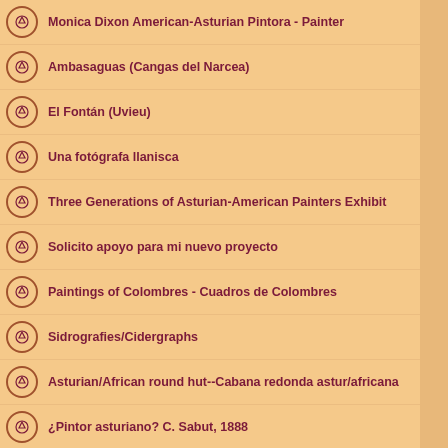Monica Dixon American-Asturian Pintora - Painter
Ambasaguas (Cangas del Narcea)
El Fontán (Uvieu)
Una fotógrafa llanisca
Three Generations of Asturian-American Painters Exhibit
Solicito apoyo para mi nuevo proyecto
Paintings of Colombres - Cuadros de Colombres
Sidrografies/Cidergraphs
Asturian/African round hut--Cabana redonda astur/africana
¿Pintor asturiano? C. Sabut, 1888
La Colonia en el Valey de Castrillón. Inauguración 2 febre
Macro y microfotografía de minerales
Mi serie de trabajos asturianos
Gijon Painting - Request for Assistance